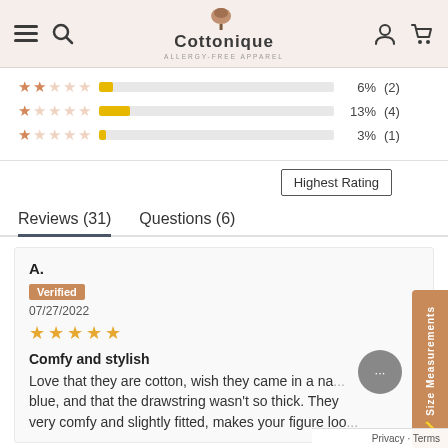Cottonique ALLERGY-FREE APPAREL
[Figure (bar-chart): Star rating distribution]
Highest Rating
Reviews (31)   Questions (6)
A.
Verified
07/27/2022
★★★★★
Comfy and stylish
Love that they are cotton, wish they came in a navy blue, and that the drawstring wasn't so thick. They are very comfy and slightly fitted, makes your figure loo...